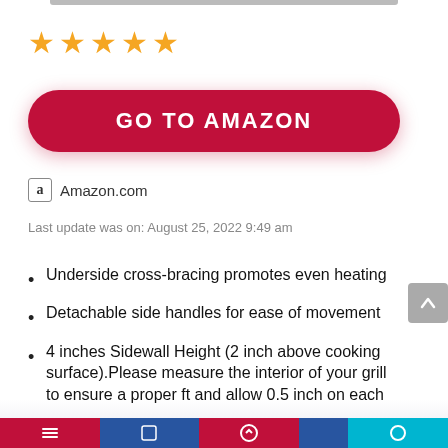[Figure (other): Five orange star rating icons]
[Figure (other): Red rounded button with text GO TO AMAZON]
Amazon.com
Last update was on: August 25, 2022 9:49 am
Underside cross-bracing promotes even heating
Detachable side handles for ease of movement
4 inches Sidewall Height (2 inch above cooking surface).Please measure the interior of your grill to ensure a proper fit and allow 0.5 inch on each